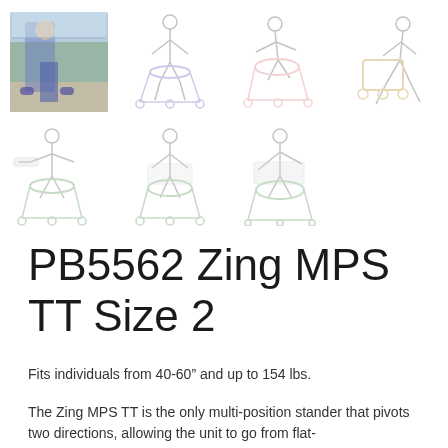[Figure (photo): Product page for PB5562 Zing MPS TT Size 2 stander. Top row shows 4 images: a real photo of a child using a purple stander in a store, plus 3 faded product line drawings of standers in various positions. Bottom row shows 3 faded product line drawings of the stander in different angles/positions.]
PB5562 Zing MPS TT Size 2
Fits individuals from 40-60” and up to 154 lbs.
The Zing MPS TT is the only multi-position stander that pivots two directions, allowing the unit to go from flat-